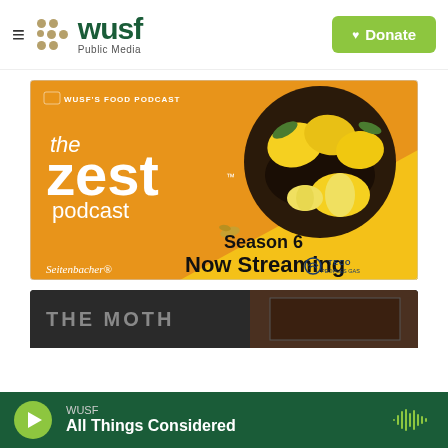WUSF Public Media — Donate button
[Figure (illustration): The Zest Podcast promotional banner: orange and yellow background with lemons in a dark bowl, text reads 'WUSF'S FOOD PODCAST the zest podcast Season 6 Now Streaming', sponsored by Seitenbacher and TECO Peoples Gas]
[Figure (illustration): Partially visible THE MOTH podcast card with dark background]
WUSF — All Things Considered (audio player bar with play button and waveform icon)